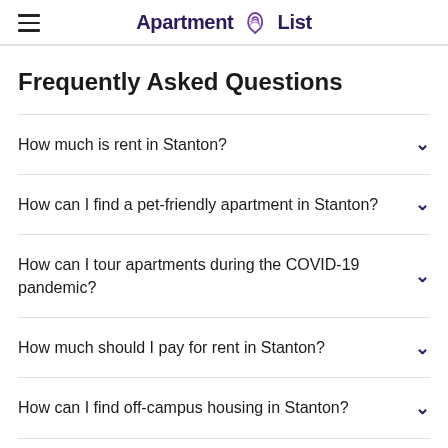Apartment List
Frequently Asked Questions
How much is rent in Stanton?
How can I find a pet-friendly apartment in Stanton?
How can I tour apartments during the COVID-19 pandemic?
How much should I pay for rent in Stanton?
How can I find off-campus housing in Stanton?